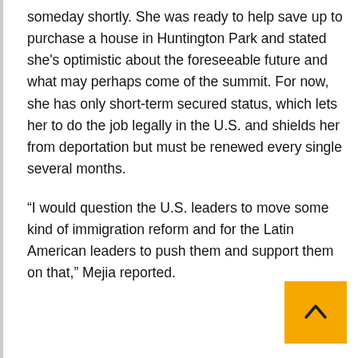someday shortly. She was ready to help save up to purchase a house in Huntington Park and stated she's optimistic about the foreseeable future and what may perhaps come of the summit. For now, she has only short-term secured status, which lets her to do the job legally in the U.S. and shields her from deportation but must be renewed every single several months.
“I would question the U.S. leaders to move some kind of immigration reform and for the Latin American leaders to push them and support them on that,” Mejia reported.
[Figure (other): Yellow back-to-top button with upward-pointing chevron arrow in bottom-right corner]